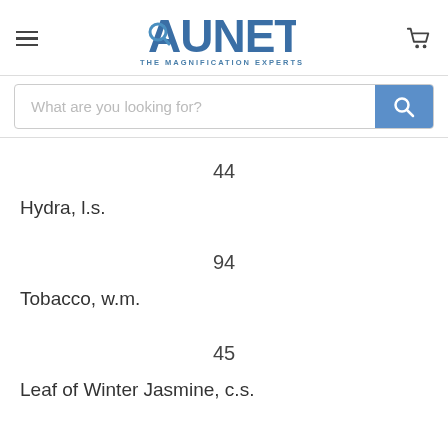AUNET THE MAGNIFICATION EXPERTS
What are you looking for?
44
Hydra, l.s.
94
Tobacco, w.m.
45
Leaf of Winter Jasmine, c.s.